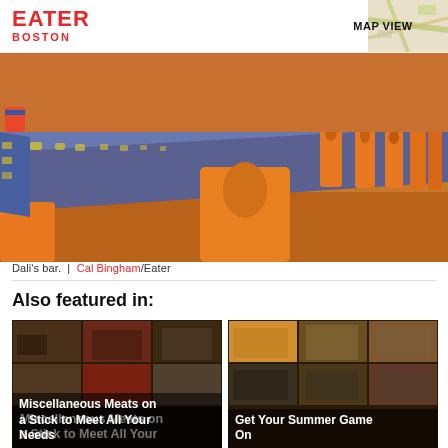EATER BOSTON | MAP VIEW
[Figure (photo): Interior of Dali's bar showing a long tiled bar counter with orange chairs lined up along it]
Dali's bar.  |  Cal Bingham/Eater
Also featured in:
[Figure (photo): Collage of restaurant interior photos with title 'Miscellaneous Meats on a Stick to Meet All Your Needs']
[Figure (photo): Collage of bar/restaurant interior photos with title 'Get Your Summer Game On']